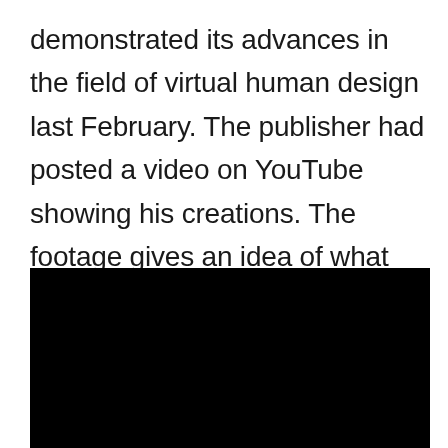demonstrated its advances in the field of virtual human design last February. The publisher had posted a video on YouTube showing his creations. The footage gives an idea of what ANA will look like in motion.
[Figure (photo): A black rectangular image, appearing to be a video still or screenshot with no visible content — entirely black.]